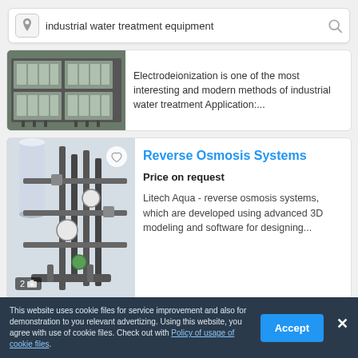[Figure (screenshot): Search bar with text 'industrial water treatment equipment', location pin icon on left, search magnifier icon on right]
[Figure (photo): Industrial water treatment equipment - electrodeionization units on a rack]
Electrodeionization is one of the most interesting and modern methods of industrial water treatment Application:...
[Figure (photo): Reverse osmosis system with pipes, valves, and gauges]
Reverse Osmosis Systems
Price on request
Litech Aqua - reverse osmosis systems, which are developed using advanced 3D modeling and software for designing...
This website uses cookie files for service improvement and also for demonstration to you relevant advertizing. Using this website, you agree with use of cookie files. Check out with Policy of usage of cookie files.